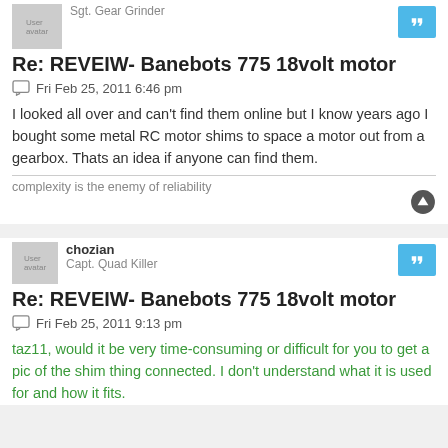se r avatar r  Sgt. Gear Grinder
Re: REVEIW- Banebots 775 18volt motor
Fri Feb 25, 2011 6:46 pm
I looked all over and can't find them online but I know years ago I bought some metal RC motor shims to space a motor out from a gearbox. Thats an idea if anyone can find them.
complexity is the enemy of reliability
chozian  Capt. Quad Killer
Re: REVEIW- Banebots 775 18volt motor
Fri Feb 25, 2011 9:13 pm
taz11, would it be very time-consuming or difficult for you to get a pic of the shim thing connected. I don't understand what it is used for and how it fits.